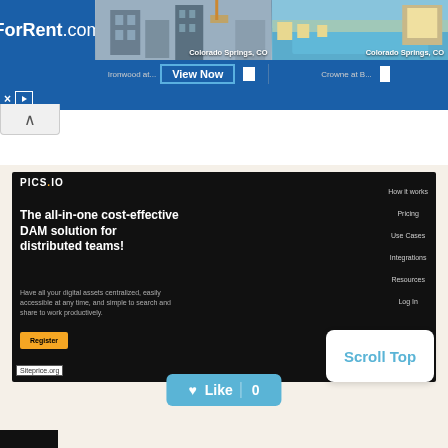[Figure (screenshot): ForRent.com banner advertisement showing Colorado Springs, CO apartments - Ironwood and Crowne properties with View Now button]
[Figure (screenshot): PICS.IO website screenshot showing 'The all-in-one cost-effective DAM solution for distributed teams!' with navigation links and Register button, watermarked by Siteprice.org]
Scroll Top
Like 0